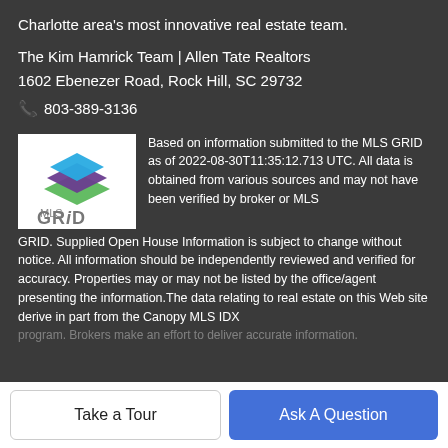Charlotte area's most innovative real estate team.
The Kim Hamrick Team | Allen Tate Realtors
1602 Ebenezer Road, Rock Hill, SC 29732
📞 803-389-3136
[Figure (logo): MLS GRID logo with stacked colorful diamond shapes above the text 'MLS GRiD']
Based on information submitted to the MLS GRID as of 2022-08-30T11:35:12.713 UTC. All data is obtained from various sources and may not have been verified by broker or MLS GRID. Supplied Open House Information is subject to change without notice. All information should be independently reviewed and verified for accuracy. Properties may or may not be listed by the office/agent presenting the information.The data relating to real estate on this Web site derive in part from the Canopy MLS IDX program. Brokers make an effort to deliver accurate information.
Take a Tour
Ask A Question